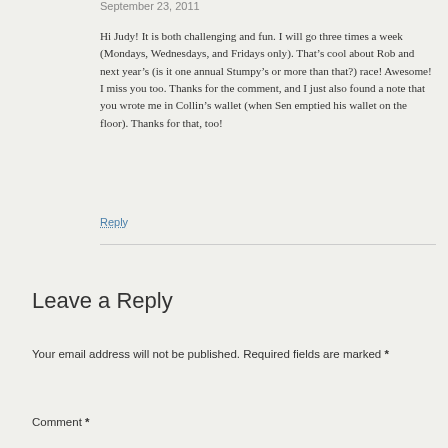September 23, 2011
Hi Judy! It is both challenging and fun. I will go three times a week (Mondays, Wednesdays, and Fridays only). That’s cool about Rob and next year’s (is it one annual Stumpy’s or more than that?) race! Awesome! I miss you too. Thanks for the comment, and I just also found a note that you wrote me in Collin’s wallet (when Sen emptied his wallet on the floor). Thanks for that, too!
Reply
Leave a Reply
Your email address will not be published. Required fields are marked *
Comment *